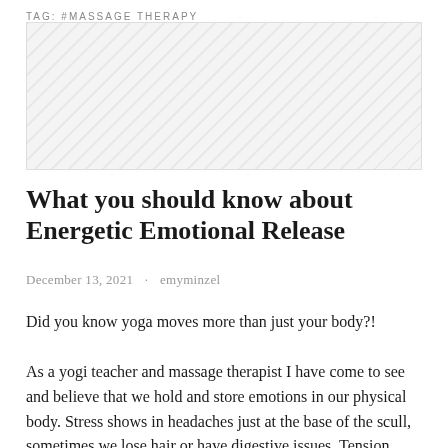TAG: #MASSAGE THERAPY
[Figure (photo): Placeholder image with diagonal hatching pattern, representing a featured article image]
What you should know about Energetic Emotional Release
December 13, 2021   emyminzel
Did you know yoga moves more than just your body?!
As a yogi teacher and massage therapist I have come to see and believe that we hold and store emotions in our physical body. Stress shows in headaches just at the base of the scull, sometimes we lose hair or have digestive issues. Tension,